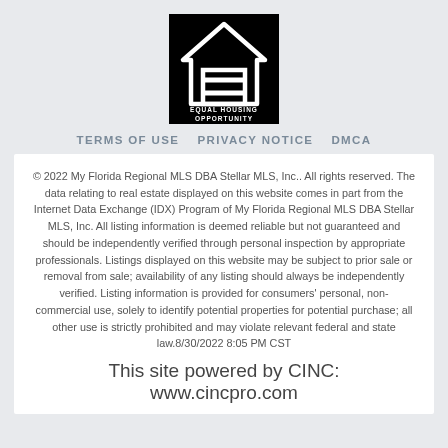[Figure (logo): Equal Housing Opportunity logo — black square with white house outline and equals sign, text 'EQUAL HOUSING OPPORTUNITY' below]
TERMS OF USE   PRIVACY NOTICE   DMCA
© 2022 My Florida Regional MLS DBA Stellar MLS, Inc.. All rights reserved. The data relating to real estate displayed on this website comes in part from the Internet Data Exchange (IDX) Program of My Florida Regional MLS DBA Stellar MLS, Inc. All listing information is deemed reliable but not guaranteed and should be independently verified through personal inspection by appropriate professionals. Listings displayed on this website may be subject to prior sale or removal from sale; availability of any listing should always be independently verified. Listing information is provided for consumers' personal, non-commercial use, solely to identify potential properties for potential purchase; all other use is strictly prohibited and may violate relevant federal and state law.8/30/2022 8:05 PM CST
This site powered by CINC: www.cincpro.com